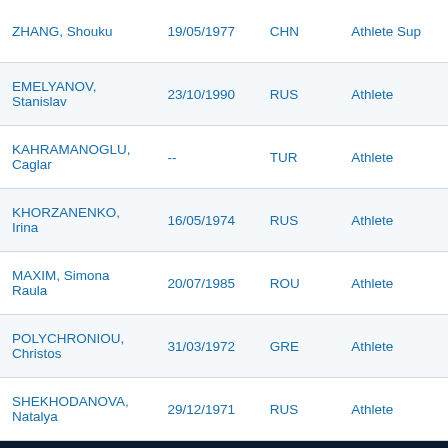| Name | DOB | NAT | Role |
| --- | --- | --- | --- |
| ZHANG, Shouku | 19/05/1977 | CHN | Athlete Sup |
| EMELYANOV, Stanislav | 23/10/1990 | RUS | Athlete |
| KAHRAMANOGLU, Caglar | -- | TUR | Athlete |
| KHORZANENKO, Irina | 16/05/1974 | RUS | Athlete |
| MAXIM, Simona Raula | 20/07/1985 | ROU | Athlete |
| POLYCHRONIOU, Christos | 31/03/1972 | GRE | Athlete |
| SHEKHODANOVA, Natalya | 29/12/1971 | RUS | Athlete |
THIS WEBSITE USES COOKIES
We use cookies to improve your experience. By using our site you are accepting our Cookie Policy
CLOSE